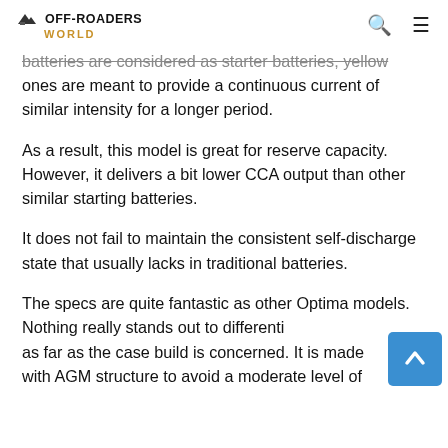OFF-ROADERS WORLD
batteries are considered as starter batteries, yellow ones are meant to provide a continuous current of similar intensity for a longer period.
As a result, this model is great for reserve capacity. However, it delivers a bit lower CCA output than other similar starting batteries.
It does not fail to maintain the consistent self-discharge state that usually lacks in traditional batteries.
The specs are quite fantastic as other Optima models. Nothing really stands out to differentiate it as far as the case build is concerned. It is made with AGM structure to avoid a moderate level of